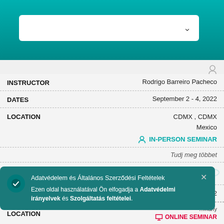[Figure (screenshot): Teal/turquoise header bar with a white dropdown search box containing a chevron down icon]
| Field | Value |
| --- | --- |
| INSTRUCTOR | Rodrigo Barreiro Pacheco |
| DATES | September 2 - 4, 2022 |
| LOCATION | CDMX , CDMX
Mexico
IN-PERSON SEMINAR |
|  | Tudj meg többet |
| TYPE | BASIC DNA |
| INSTRUCTOR | Ana Sophie Rose |
| D[ATES] | ...2022 |
| LOCATION | ...many
ONLINE SEMINAR |
Adatvédelem és Általános Szerződési Feltételek Ezen oldal használatával Ön elfogadja a Adatvédelmi irányelvek és Szolgáltatás feltételei.